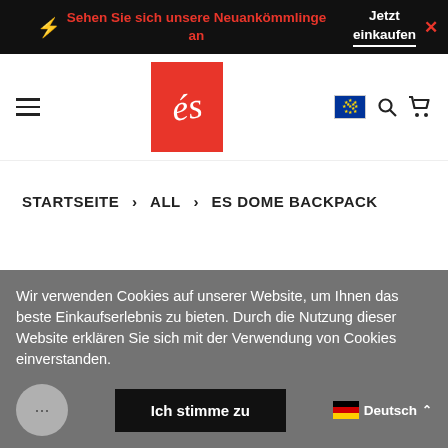Sehen Sie sich unsere Neuankömmlinge an — Jetzt einkaufen
[Figure (logo): és brand logo — white stylized 'és' script on red background]
STARTSEITE > ALL > ES DOME BACKPACK
Wir verwenden Cookies auf unserer Website, um Ihnen das beste Einkaufserlebnis zu bieten. Durch die Nutzung dieser Website erklären Sie sich mit der Verwendung von Cookies einverstanden.
Ich stimme zu
Deutsch